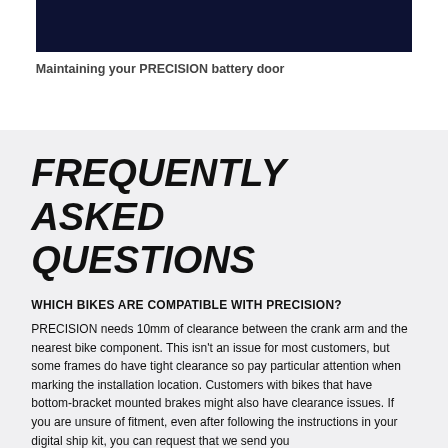[Figure (other): Dark navy blue horizontal banner image at the top of the page]
Maintaining your PRECISION battery door
FREQUENTLY ASKED QUESTIONS
WHICH BIKES ARE COMPATIBLE WITH PRECISION?
PRECISION needs 10mm of clearance between the crank arm and the nearest bike component. This isn't an issue for most customers, but some frames do have tight clearance so pay particular attention when marking the installation location. Customers with bikes that have bottom-bracket mounted brakes might also have clearance issues. If you are unsure of fitment, even after following the instructions in your digital ship kit, you can request that we send you